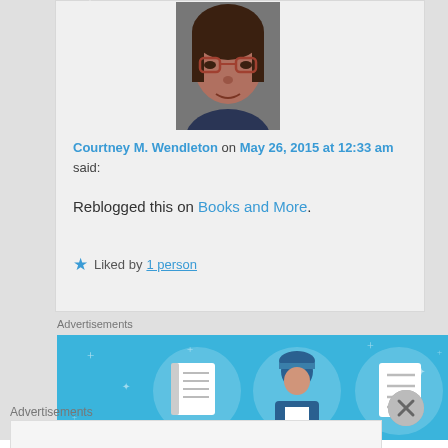[Figure (photo): Profile photo of Courtney M. Wendleton, a woman with glasses and dark hair, cropped portrait shot]
Courtney M. Wendleton on May 26, 2015 at 12:33 am said:
Reblogged this on Books and More.
★ Liked by 1 person
Advertisements
[Figure (illustration): Blue advertisement banner with illustrated icons of a notebook, a person with a helmet, and a checklist/document, with sparkle/star decorations on blue background]
Advertisements
[Figure (illustration): Empty white/grey advertisement box at the bottom of the page]